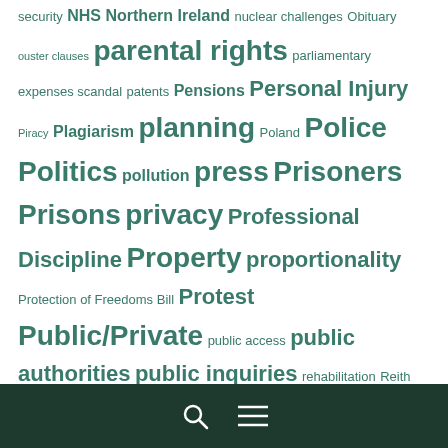security NHS Northern Ireland nuclear challenges Obituary ouster clauses parental rights parliamentary expenses scandal patents Pensions Personal Injury Piracy Plagiarism planning Poland Police Politics pollution press Prisoners Prisons privacy Professional Discipline Property proportionality Protection of Freedoms Bill Protest Public/Private public access public authorities public inquiries rehabilitation Reith Lectures Religion RightsInfo right to die right to family life Right to Privacy right to swim riots Roma Romania Round Up Royals Russia Saudi Arabia Scotland secrecy secret justice sexual offence Sikhism Smoking social media South Africa Spain
Search  Menu